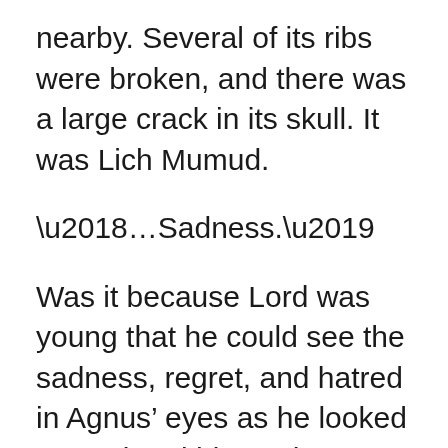nearby. Several of its ribs were broken, and there was a large crack in its skull. It was Lich Mumud.
‘…Sadness.’
Was it because Lord was young that he could see the sadness, regret, and hatred in Agnus’ eyes as he looked at Lord and his mother? Additionally, Lord felt that Mumud was lonelier than